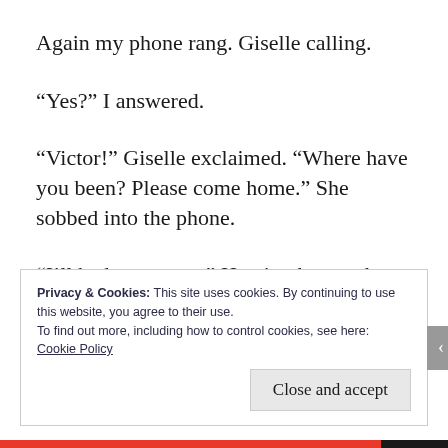Again my phone rang. Giselle calling.
“Yes?” I answered.
“Victor!” Giselle exclaimed. “Where have you been? Please come home.” She sobbed into the phone.
“I’ll be home soon.” Hearing her cry hurt me.
Privacy & Cookies: This site uses cookies. By continuing to use this website, you agree to their use.
To find out more, including how to control cookies, see here: Cookie Policy
Close and accept